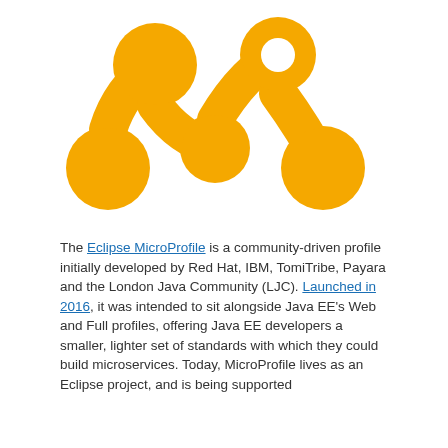[Figure (logo): Eclipse MicroProfile logo: an orange/amber molecule-like shape resembling the letter M with circular nodes at the ends and middle, with one node having a hollow circle cutout at the top right]
The Eclipse MicroProfile is a community-driven profile initially developed by Red Hat, IBM, TomiTribe, Payara and the London Java Community (LJC). Launched in 2016, it was intended to sit alongside Java EE's Web and Full profiles, offering Java EE developers a smaller, lighter set of standards with which they could build microservices. Today, MicroProfile lives as an Eclipse project, and is being supported